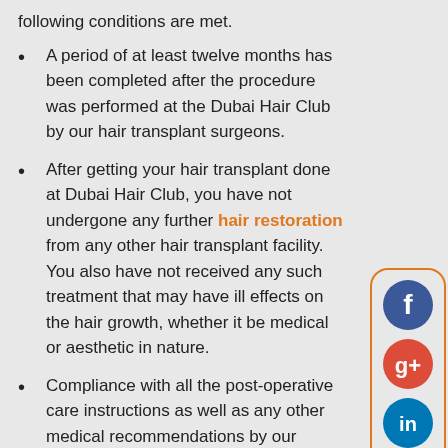following conditions are met.
A period of at least twelve months has been completed after the procedure was performed at the Dubai Hair Club by our hair transplant surgeons.
After getting your hair transplant done at Dubai Hair Club, you have not undergone any further hair restoration from any other hair transplant facility. You also have not received any such treatment that may have ill effects on the hair growth, whether it be medical or aesthetic in nature.
Compliance with all the post-operative care instructions as well as any other medical recommendations by our doctors are Dubai Hair Club must be adhered to. All consultation after the procedure should have been attended and recommended follow up visits should be made.
[Figure (infographic): Social media icon buttons in a rounded orange-bordered panel: Facebook (dark blue), Google+ (red), LinkedIn (blue), Twitter (light blue), YouTube (red)]